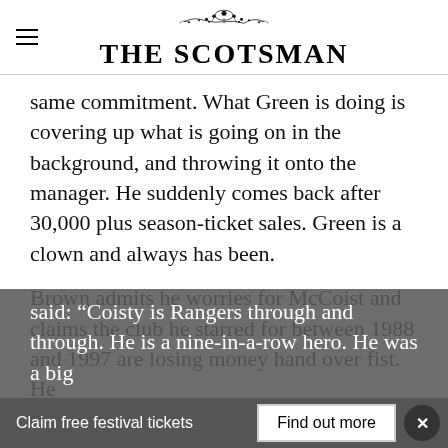THE SCOTSMAN
same commitment. What Green is doing is covering up what is going on in the background, and throwing it onto the manager. He suddenly comes back after 30,000 plus season-ticket sales. Green is a clown and always has been.
Brown admits he worries for McCoist and claims the club he starred for between 1988 and 1997 are losing money hand over fist. He said: “Coisty is Rangers through and through. He is a nine-in-a-row hero. He was a big
Claim free festival tickets
Find out more